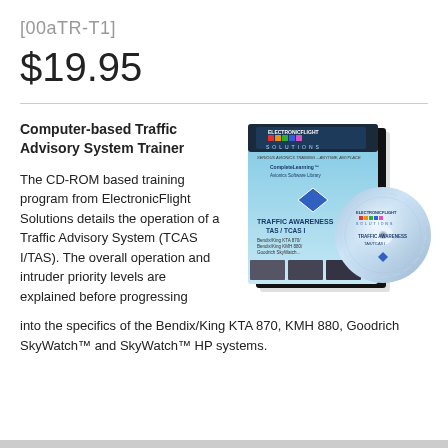[00aTR-T1]
$19.95
Computer-based Traffic Advisory System Trainer
[Figure (photo): CD-ROM software package for ElectronicFlight Solutions Traffic Awareness TAS/TCAS training, showing the box and CD disc.]
The CD-ROM based training program from ElectronicFlight Solutions details the operation of a Traffic Advisory System (TCAS I/TAS). The overall operation and intruder priority levels are explained before progressing into the specifics of the Bendix/King KTA 870, KMH 880, Goodrich SkyWatch™ and SkyWatch™ HP systems.